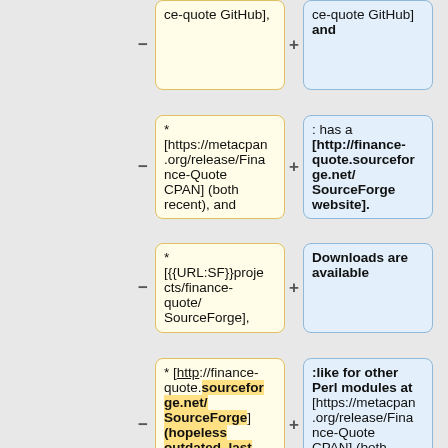ce-quote GitHub],
ce-quote GitHub] and
* [https://metacpan.org/release/Finance-Quote CPAN] (both recent), and
: has a [http://finance-quote.sourceforge.net/ SourceForge website].
* [{{URL:SF}}projects/finance-quote/ SourceForge],
Downloads are available
* [http://finance-quote.sourceforge.net/ SourceForge] (hopeless outdated, last news: 2015-Aug-22 Release
:like for other Perl modules at [https://metacpan.org/release/Finance-Quote CPAN] (both recent),